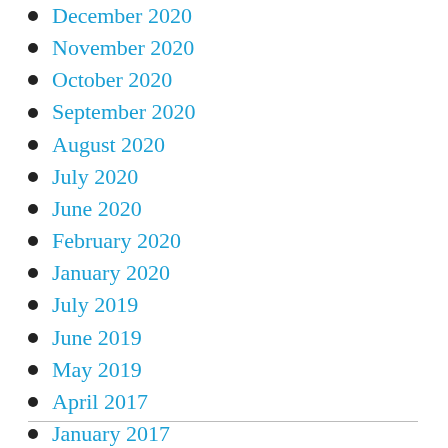December 2020
November 2020
October 2020
September 2020
August 2020
July 2020
June 2020
February 2020
January 2020
July 2019
June 2019
May 2019
April 2017
January 2017